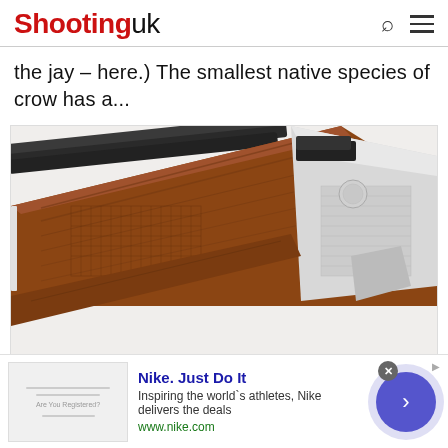Shootinguk
the jay – here.) The smallest native species of crow has a...
[Figure (photo): Close-up photo of a shotgun, showing the wooden stock and engraved silver/chrome action/receiver, with the barrels visible at the top, on a white background.]
Nike. Just Do It
Inspiring the world’s athletes, Nike delivers the deals
www.nike.com